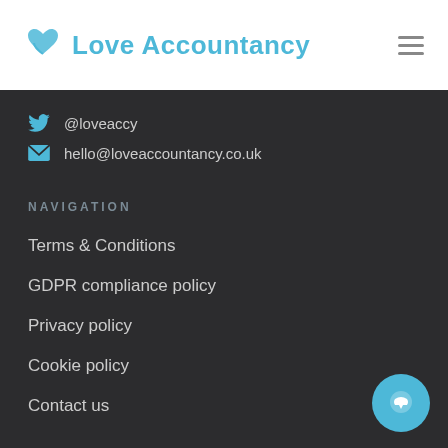Love Accountancy
@loveaccy
hello@loveaccountancy.co.uk
NAVIGATION
Terms & Conditions
GDPR compliance policy
Privacy policy
Cookie policy
Contact us